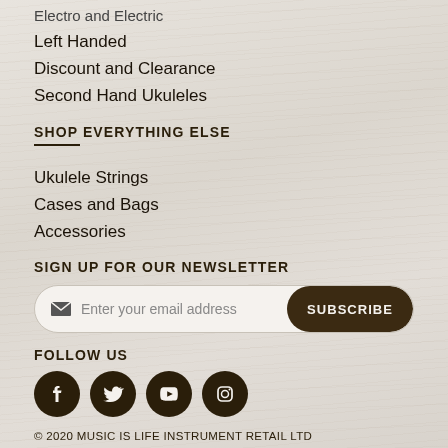Electro and Electric
Left Handed
Discount and Clearance
Second Hand Ukuleles
SHOP EVERYTHING ELSE
Ukulele Strings
Cases and Bags
Accessories
SIGN UP FOR OUR NEWSLETTER
Enter your email address  SUBSCRIBE
FOLLOW US
[Figure (illustration): Social media icons: Facebook, Twitter, YouTube, Instagram]
© 2020 MUSIC IS LIFE INSTRUMENT RETAIL LTD
PRIVACY POLICY | TERMS & CONDITIONS